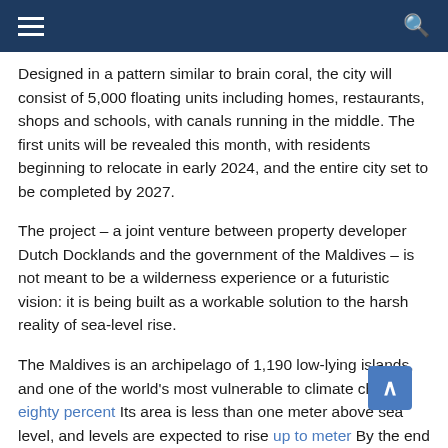Navigation bar with hamburger menu and search icon
Designed in a pattern similar to brain coral, the city will consist of 5,000 floating units including homes, restaurants, shops and schools, with canals running in the middle. The first units will be revealed this month, with residents beginning to relocate in early 2024, and the entire city set to be completed by 2027.
The project – a joint venture between property developer Dutch Docklands and the government of the Maldives – is not meant to be a wilderness experience or a futuristic vision: it is being built as a workable solution to the harsh reality of sea-level rise.
The Maldives is an archipelago of 1,190 low-lying islands, and one of the world's most vulnerable to climate change. eighty percent Its area is less than one meter above sea level, and levels are expected to rise up to meter By the end of the century, almost the entire country could be drowned. Do you want to protect your home from rising sea levels in the future? make it float